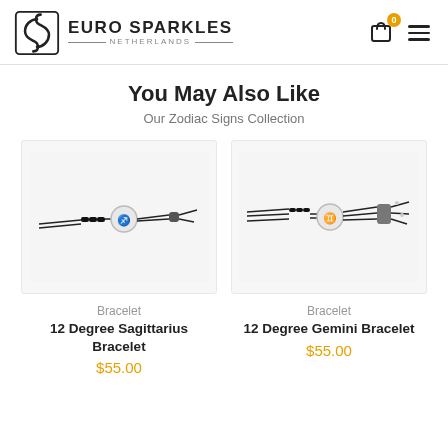EURO SPARKLES NETHERLANDS
You May Also Like
Our Zodiac Signs Collection
[Figure (photo): 12 Degree Sagittarius Bracelet - black cord bracelet with silver zodiac charm]
Bracelet
12 Degree Sagittarius Bracelet
$55.00
[Figure (photo): 12 Degree Gemini Bracelet - black cord bracelet with silver zodiac charm]
Bracelet
12 Degree Gemini Bracelet
$55.00